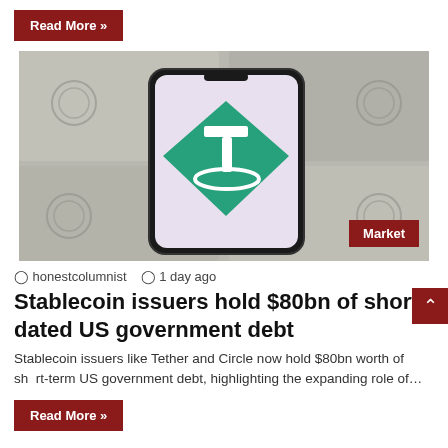Read More »
[Figure (photo): A smartphone displaying the Tether (USDT) logo — a green diamond with a white T and orbiting ring — placed on top of blurred US dollar bills background. A 'Market' badge appears in the bottom-right corner of the image.]
honestcolumnist  1 day ago
Stablecoin issuers hold $80bn of short-dated US government debt
Stablecoin issuers like Tether and Circle now hold $80bn worth of short-term US government debt, highlighting the expanding role of…
Read More »